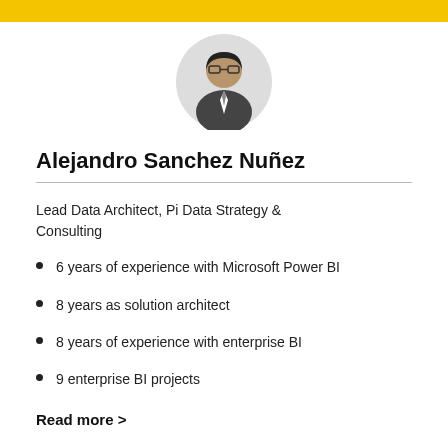[Figure (photo): Circular profile photo of Alejandro Sanchez Nuñez, a man wearing glasses and a suit]
Alejandro Sanchez Nuñez
Lead Data Architect, Pi Data Strategy & Consulting
6 years of experience with Microsoft Power BI
8 years as solution architect
8 years of experience with enterprise BI
9 enterprise BI projects
Read more >